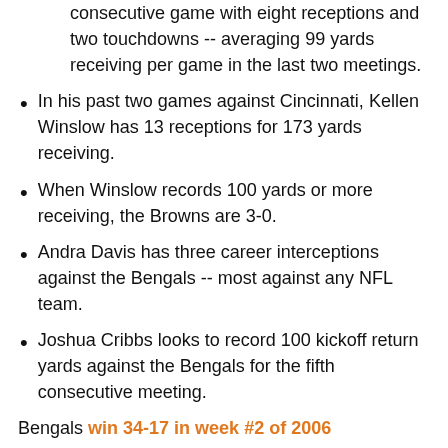consecutive game with eight receptions and two touchdowns -- averaging 99 yards receiving per game in the last two meetings.
In his past two games against Cincinnati, Kellen Winslow has 13 receptions for 173 yards receiving.
When Winslow records 100 yards or more receiving, the Browns are 3-0.
Andra Davis has three career interceptions against the Bengals -- most against any NFL team.
Joshua Cribbs looks to record 100 kickoff return yards against the Bengals for the fifth consecutive meeting.
Bengals win 34-17 in week #2 of 2006
It was second-and-12 as the Browns lined up in I-